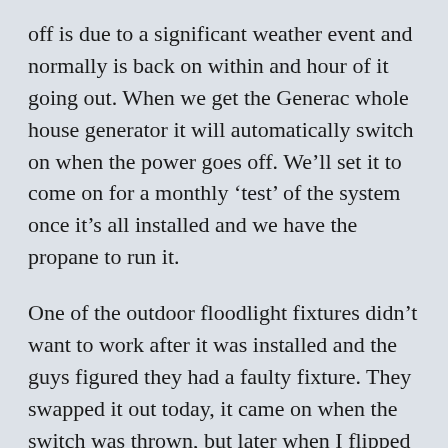off is due to a significant weather event and normally is back on within and hour of it going out. When we get the Generac whole house generator it will automatically switch on when the power goes off. We'll set it to come on for a monthly 'test' of the system once it's all installed and we have the propane to run it.
One of the outdoor floodlight fixtures didn't want to work after it was installed and the guys figured they had a faulty fixture. They swapped it out today, it came on when the switch was thrown, but later when I flipped the switch to see the new light lit up, it wouldn't come on. We may have a short in the wiring for that light fixture. Edit: I was just out in the garage and that light works like it should. We are good to go